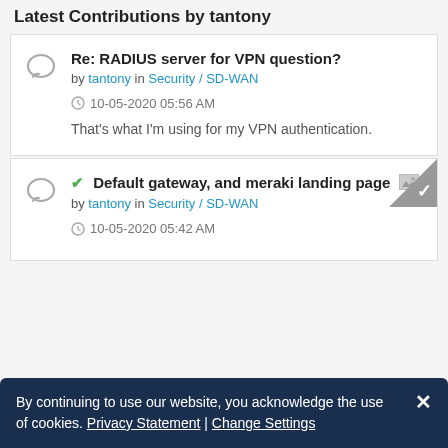Latest Contributions by tantony
Re: RADIUS server for VPN question? by tantony in Security / SD-WAN
10-05-2020 05:56 AM
That's what I'm using for my VPN authentication.
✓ Default gateway, and meraki landing page [image] by tantony in Security / SD-WAN
10-05-2020 05:42 AM
By continuing to use our website, you acknowledge the use of cookies. Privacy Statement | Change Settings